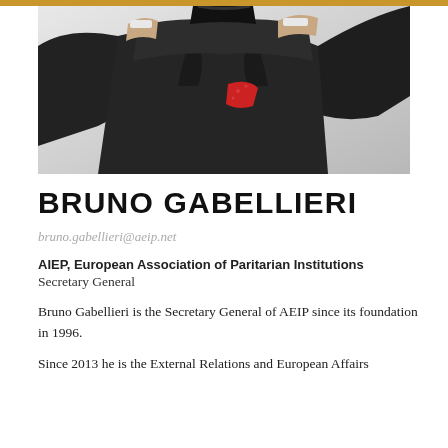[Figure (photo): Professional photo of Bruno Gabellieri in dark suit with red pocket square, arms crossed behind back, against light background]
BRUNO GABELLIERI
bruno.gabellieri@aeip.net
AIEP, European Association of Paritarian Institutions
Secretary General
Bruno Gabellieri is the Secretary General of AEIP since its foundation in 1996.
Since 2013 he is the External Relations and European Affairs